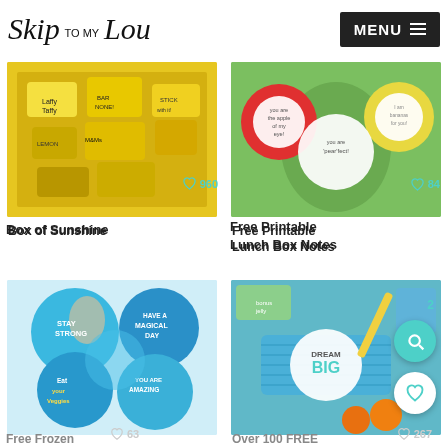Skip to my Lou | MENU
[Figure (photo): Box of Sunshine – photo of yellow candy box with Laffy Taffy and other candies with printed labels. Heart icon with 960 likes.]
Box of Sunshine
[Figure (photo): Free Printable Lunch Box Notes – photo of fruits (apple, avocado, banana) with round tags saying 'you are the apple of my eye', 'you are pear-fect', 'I am bananas for you'. Heart icon with 84 likes.]
Free Printable Lunch Box Notes
[Figure (photo): Free Frozen – Frozen character stickers with messages: Stay Strong, Have a Magical Day, You are Amazing, Eat your Veggies. Heart icon with 63 likes.]
Free Frozen
[Figure (photo): Over 100 FREE – lunch bag with Dream Big label, oranges and snacks. Heart icon with 267 likes.]
Over 100 FREE